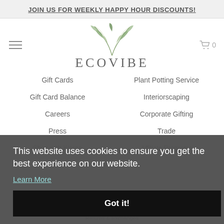JOIN US FOR WEEKLY HAPPY HOUR DISCOUNTS!
[Figure (logo): EcoVibe logo with green leaf illustration above the text ECOVIBE]
Gift Cards
Plant Potting Service
Gift Card Balance
Interiorscaping
Careers
Corporate Gifting
Press
Trade
Shop with Klarna
Affiliate Programs
This website uses cookies to ensure you get the best experience on our website. Learn More
Got it!
HELP
Shipping & Delivery
Returns & Exchanges